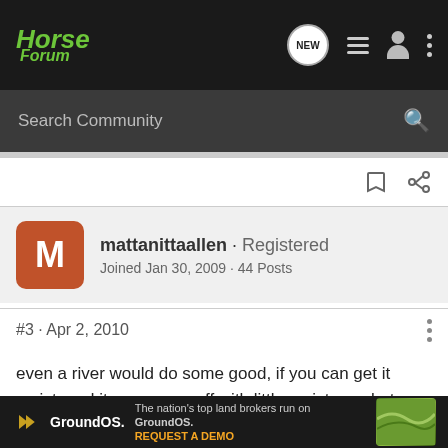Horse Forum
Search Community
mattanittaallen · Registered
Joined Jan 30, 2009 · 44 Posts
#3 · Apr 2, 2010
even a river would do some good, if you can get it moistened it may come off with little resistance but you'll have to keep something on it. On the other hand, if it isn't bothering him, you might leave it depending on how it looks to you. does it seem infected?
[Figure (screenshot): GroundOS advertisement banner: 'The nation's top land brokers run on GroundOS. REQUEST A DEMO']